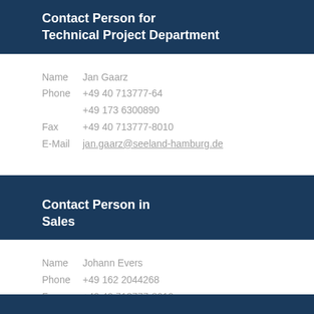Contact Person for Technical Project Department
Name   Jan Gaarz
Phone +49 40 713777-64
       +49 173 6300890
Fax    +49 40 713777-8010
E-Mail jan.gaarz@seeland-hamburg.de
Contact Person in Sales
Name   Johann Evers
Phone +49 162 2044268
Fax    +49 40 713777-8010
E-Mail johann.evers@seeland-hamburg.de